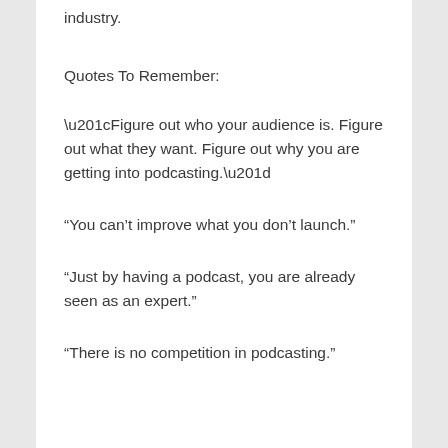industry.
Quotes To Remember:
“Figure out who your audience is. Figure out what they want. Figure out why you are getting into podcasting.”
“You can’t improve what you don’t launch.”
“Just by having a podcast, you are already seen as an expert.”
“There is no competition in podcasting.”